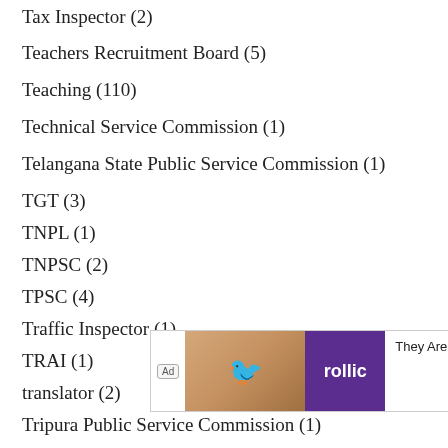Tax Inspector (2)
Teachers Recruitment Board (5)
Teaching (110)
Technical Service Commission (1)
Telangana State Public Service Commission (1)
TGT (3)
TNPL (1)
TNPSC (2)
TPSC (4)
Traffic Inspector (1)
TRAI (1)
translator (2)
Tripura Public Service Commission (1)
TSPSC (…)
Typist (…)
[Figure (other): Advertisement banner for 'rollic' app with bird graphic, text 'They Are Coming!' and Download button]